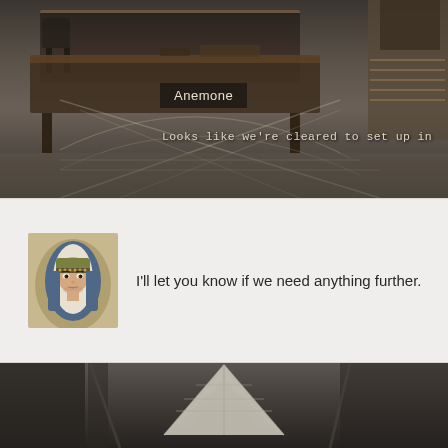[Figure (screenshot): Video game screenshot showing an interior room scene with a wooden table and a figure on the right. Overlaid geometric X/cross lines. Character name label 'Anemone' in a dark box. Dialogue text 'Looks like we’re cleared to set up in' partially visible.]
Anemone
Looks like we're cleared to set up in
[Figure (illustration): Pixel art portrait of a female character wearing a blue and gold helmet/hood with dark hair and serious expression.]
I'll let you know if we need anything further.
[Figure (screenshot): Video game screenshot showing the interior of a large tent or building with a triangular white structure visible in the center.]